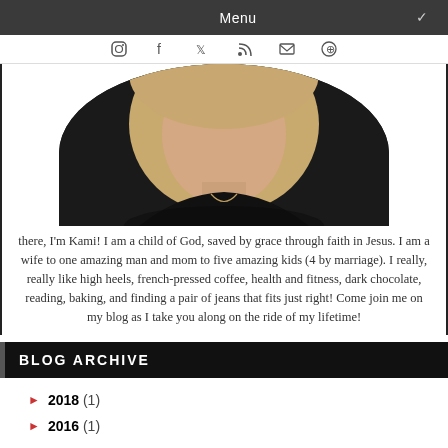Menu
[Figure (photo): Circular profile photo of a blonde woman wearing a black top with a necklace, cropped to show neck and lower face]
there, I'm Kami! I am a child of God, saved by grace through faith in Jesus. I am a wife to one amazing man and mom to five amazing kids (4 by marriage). I really, really like high heels, french-pressed coffee, health and fitness, dark chocolate, reading, baking, and finding a pair of jeans that fits just right! Come join me on my blog as I take you along on the ride of my lifetime!
BLOG ARCHIVE
2018 (1)
2016 (1)